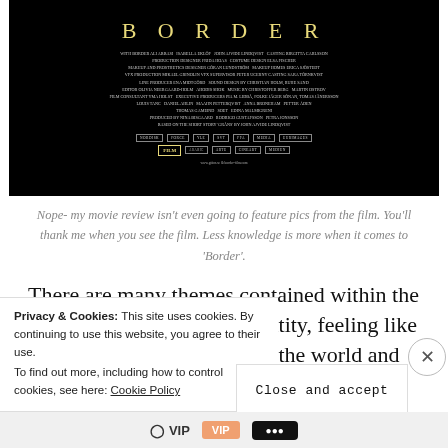[Figure (photo): Movie credits/end card for the film 'Border' showing title in yellow letters on black background with cast and crew credits in small text, followed by production logos]
Nope- my movie review isn't even going to feature pics from the film. You'll thank me when you see the film. Less knowledge is more when it comes to 'Border'.
There are many themes contained within the film including issues of identity, feeling like you have no proper place in the world and that you don't 'fit'...A major theme that the film makes it's
Privacy & Cookies: This site uses cookies. By continuing to use this website, you agree to their use.
To find out more, including how to control cookies, see here: Cookie Policy
Close and accept